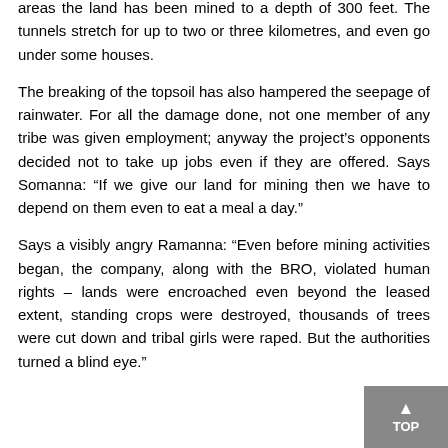areas the land has been mined to a depth of 300 feet. The tunnels stretch for up to two or three kilometres, and even go under some houses.
The breaking of the topsoil has also hampered the seepage of rainwater. For all the damage done, not one member of any tribe was given employment; anyway the project's opponents decided not to take up jobs even if they are offered. Says Somanna: “If we give our land for mining then we have to depend on them even to eat a meal a day.”
Says a visibly angry Ramanna: “Even before mining activities began, the company, along with the BRO, violated human rights – lands were encroached even beyond the leased extent, standing crops were destroyed, thousands of trees were cut down and tribal girls were raped. But the authorities turned a blind eye.”